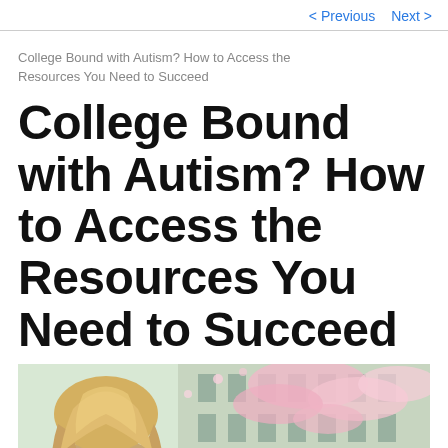< Previous   Next >
College Bound with Autism? How to Access the Resources You Need to Succeed
College Bound with Autism? How to Access the Resources You Need to Succeed
[Figure (photo): Young woman with blonde hair viewed from behind, standing in front of a building with cherry blossom trees in bloom]